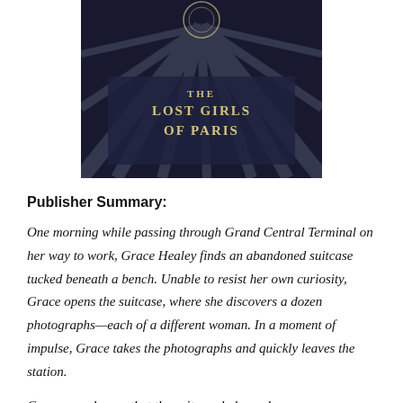[Figure (illustration): Book cover for 'The Lost Girls of Paris' — dark background with radiating light beams, title text in gold/cream uppercase letters centered on the cover.]
Publisher Summary:
One morning while passing through Grand Central Terminal on her way to work, Grace Healey finds an abandoned suitcase tucked beneath a bench. Unable to resist her own curiosity, Grace opens the suitcase, where she discovers a dozen photographs—each of a different woman. In a moment of impulse, Grace takes the photographs and quickly leaves the station.
Grace soon learns that the suitcase belonged